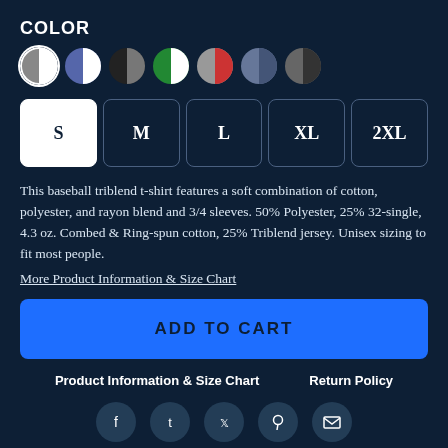COLOR
[Figure (other): Seven circular color swatches: white/gray split (selected with ring), white/blue split, black/gray split, white/green split, gray/red split, blue/gray split, gray/dark split]
[Figure (other): Size selector buttons: S (selected, white background), M, L, XL, 2XL]
This baseball triblend t-shirt features a soft combination of cotton, polyester, and rayon blend and 3/4 sleeves. 50% Polyester, 25% 32-single, 4.3 oz. Combed & Ring-spun cotton, 25% Triblend jersey. Unisex sizing to fit most people.
More Product Information & Size Chart
ADD TO CART
Product Information & Size Chart
Return Policy
[Figure (other): Social media icons: Facebook, Tumblr, Twitter, Pinterest, Email]